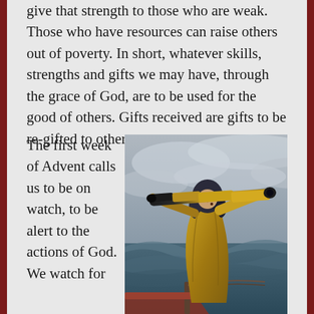give that strength to those who are weak. Those who have resources can raise others out of poverty. In short, whatever skills, strengths and gifts we may have, through the grace of God, are to be used for the good of others. Gifts received are gifts to be re-gifted to others.
The first week of Advent calls us to be on watch, to be alert to the actions of God. We watch for
[Figure (illustration): Painting of a sailor or fisherman in a yellow rain slicker and dark hood, looking through a brass telescope/spyglass, standing on a boat deck with turbulent stormy seas and grey skies in the background.]